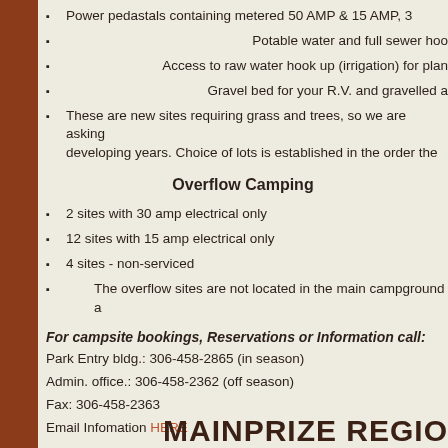Power pedastals containing metered 50 AMP & 15 AMP, 3
Potable water and full sewer hoo
Access to raw water hook up (irrigation) for plan
Gravel bed for your R.V. and gravelled a
These are new sites requiring grass and trees, so we are asking developing years. Choice of lots is established in the order the
Overflow Camping
2 sites with 30 amp electrical only
12 sites with 15 amp electrical only
4 sites - non-serviced
The overflow sites are not located in the main campground a
For campsite bookings, Reservations or Information call:
Park Entry bldg.: 306-458-2865 (in season)
Admin. office.: 306-458-2362 (off season)
Fax: 306-458-2363
Email Infomation HERE
MAINPRIZE REGIO